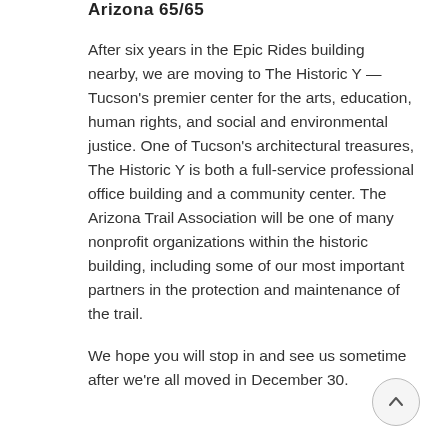Arizona 65/65
After six years in the Epic Rides building nearby, we are moving to The Historic Y — Tucson's premier center for the arts, education, human rights, and social and environmental justice. One of Tucson's architectural treasures, The Historic Y is both a full-service professional office building and a community center. The Arizona Trail Association will be one of many nonprofit organizations within the historic building, including some of our most important partners in the protection and maintenance of the trail.
We hope you will stop in and see us sometime after we're all moved in December 30.